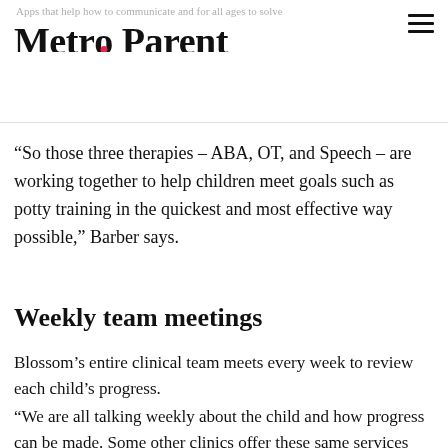Metro Parent
“So those three therapies – ABA, OT, and Speech – are working together to help children meet goals such as potty training in the quickest and most effective way possible,” Barber says.
Weekly team meetings
Blossom’s entire clinical team meets every week to review each child’s progress.
“We are all talking weekly about the child and how progress can be made. Some other clinics offer these same services